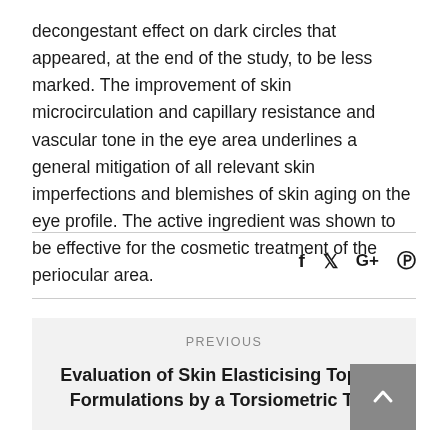decongestant effect on dark circles that appeared, at the end of the study, to be less marked. The improvement of skin microcirculation and capillary resistance and vascular tone in the eye area underlines a general mitigation of all relevant skin imperfections and blemishes of skin aging on the eye profile. The active ingredient was shown to be effective for the cosmetic treatment of the periocular area.
[Figure (other): Social media sharing icons: Facebook (f), Twitter (bird), Google+ (G+), Pinterest (P circle)]
PREVIOUS
Evaluation of Skin Elasticising Topical Formulations by a Torsiometric Test